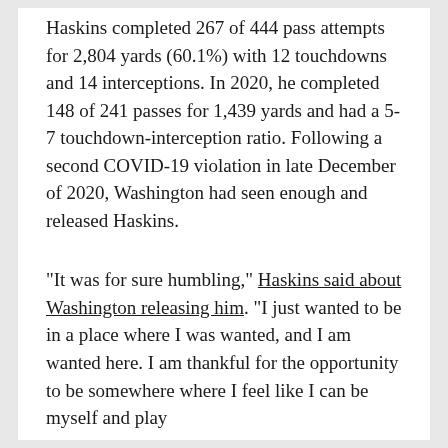Haskins completed 267 of 444 pass attempts for 2,804 yards (60.1%) with 12 touchdowns and 14 interceptions. In 2020, he completed 148 of 241 passes for 1,439 yards and had a 5-7 touchdown-interception ratio. Following a second COVID-19 violation in late December of 2020, Washington had seen enough and released Haskins.
"It was for sure humbling," Haskins said about Washington releasing him. "I just wanted to be in a place where I was wanted, and I am wanted here. I am thankful for the opportunity to be somewhere where I feel like I can be myself and play